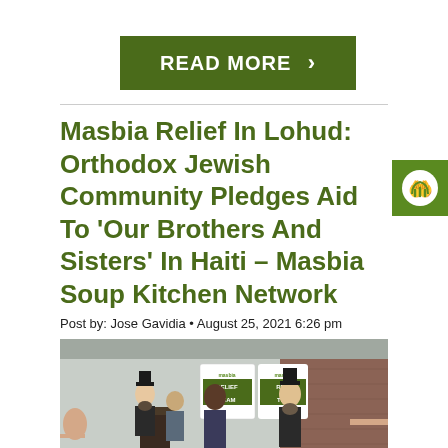[Figure (other): READ MORE button with dark olive green background and white text with right arrow]
[Figure (logo): Masbia logo icon showing white hands raised on green square background, positioned top right]
Masbia Relief In Lohud: Orthodox Jewish Community Pledges Aid To 'Our Brothers And Sisters' In Haiti – Masbia Soup Kitchen Network
Post by: Jose Gavidia • August 25, 2021 6:26 pm
[Figure (photo): Outdoor press conference photo showing several people including Orthodox Jewish men and others, with Masbia Relief Team signs visible in background, podium in foreground, brick building behind]